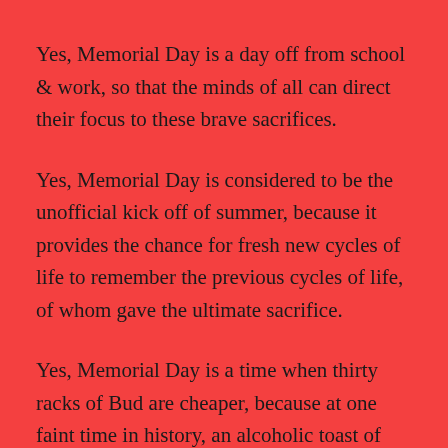Yes, Memorial Day is a day off from school & work, so that the minds of all can direct their focus to these brave sacrifices.
Yes, Memorial Day is considered to be the unofficial kick off of summer, because it provides the chance for fresh new cycles of life to remember the previous cycles of life, of whom gave the ultimate sacrifice.
Yes, Memorial Day is a time when thirty racks of Bud are cheaper, because at one faint time in history, an alcoholic toast of Memorial was indulged to honor the brave and the bold. Unfortunately, these days, it’s nothing more than an absolute of greed by alcohol providers to cash in on their consumers.